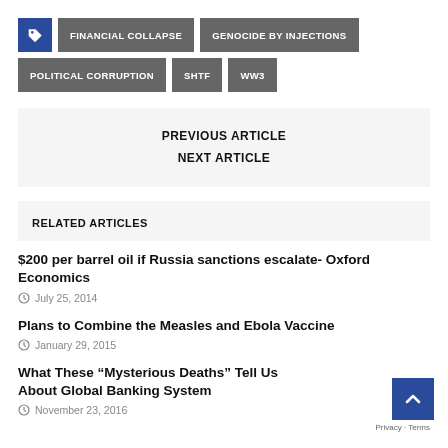FINANCIAL COLLAPSE
GENOCIDE BY INJECTIONS
POLITICAL CORRUPTION
SHTF
WW3
PREVIOUS ARTICLE
NEXT ARTICLE
RELATED ARTICLES
$200 per barrel oil if Russia sanctions escalate- Oxford Economics
July 25, 2014
Plans to Combine the Measles and Ebola Vaccine
January 29, 2015
What These “Mysterious Deaths” Tell Us About Global Banking System
November 23, 2016